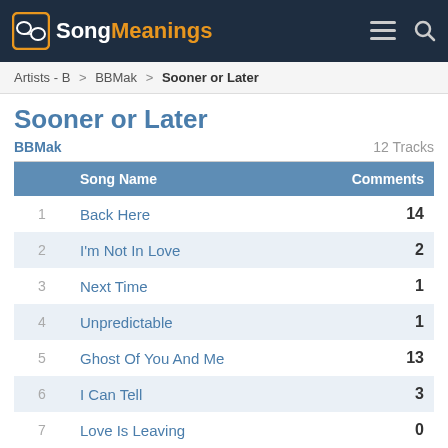SongMeanings
Artists - B > BBMak > Sooner or Later
Sooner or Later
BBMak   12 Tracks
|  | Song Name | Comments |
| --- | --- | --- |
| 1 | Back Here | 14 |
| 2 | I'm Not In Love | 2 |
| 3 | Next Time | 1 |
| 4 | Unpredictable | 1 |
| 5 | Ghost Of You And Me | 13 |
| 6 | I Can Tell | 3 |
| 7 | Love Is Leaving | 0 |